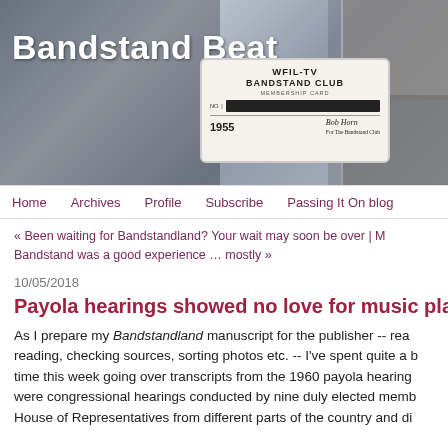Bandstand Beat
[Figure (photo): Black and white photo collage of people dancing at Bandstand, with a man's portrait top right, a woman's portrait bottom right, and a WFIL-TV Bandstand Club membership card from 1955 in the center.]
Home | Archives | Profile | Subscribe | Passing It On blog
« Been waiting for Bandstandland? Your wait may soon be over | My Bandstand was a good experience … mostly »
10/05/2018
Payola hearings showed no love for music playe
As I prepare my Bandstandland manuscript for the publisher -- reading, checking sources, sorting photos etc. -- I've spent quite a bit of time this week going over transcripts from the 1960 payola hearings. These were congressional hearings conducted by nine duly elected members of the House of Representatives from different parts of the country and di